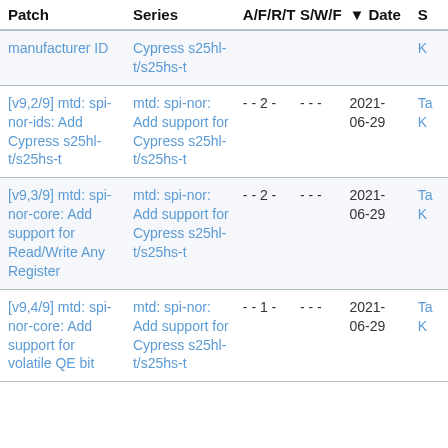| Patch | Series | A/F/R/T | S/W/F | ▾ Date | S |
| --- | --- | --- | --- | --- | --- |
| manufacturer ID | Cypress s25hl-t/s25hs-t |  |  |  | K |
| [v9,2/9] mtd: spi-nor-ids: Add Cypress s25hl-t/s25hs-t | mtd: spi-nor: Add support for Cypress s25hl-t/s25hs-t | - - 2 - | - - - | 2021-06-29 | Ta K |
| [v9,3/9] mtd: spi-nor-core: Add support for Read/Write Any Register | mtd: spi-nor: Add support for Cypress s25hl-t/s25hs-t | - - 2 - | - - - | 2021-06-29 | Ta K |
| [v9,4/9] mtd: spi-nor-core: Add support for volatile QE bit | mtd: spi-nor: Add support for Cypress s25hl-t/s25hs-t | - - 1 - | - - - | 2021-06-29 | Ta K |